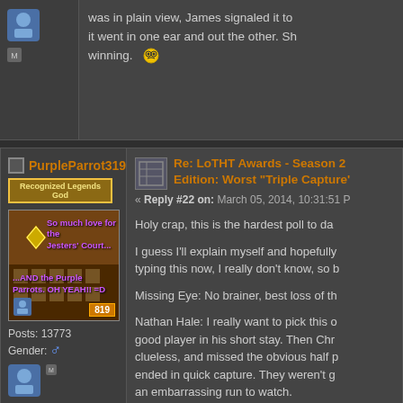was in plain view, James signaled it to it went in one ear and out the other. Sh winning. 🤓
PurpleParrot319
Recognized Legends God
[Figure (photo): Avatar image showing Jesters Court scene with purple text overlays: 'So much love for the Jesters' Court...' and '...AND the Purple Parrots. OH YEAH!! =D', with post count 819]
Posts: 13773
Gender: ♂
Re: LoTHT Awards - Season 2 Edition: Worst "Triple Capture'
« Reply #22 on: March 05, 2014, 10:31:51 P
Holy crap, this is the hardest poll to da
I guess I'll explain myself and hopefully typing this now, I really don't know, so b
Missing Eye: No brainer, best loss of th
Nathan Hale: I really want to pick this o good player in his short stay. Then Chr clueless, and missed the obvious half p ended in quick capture. They weren't g an embarrassing run to watch.
Harriet Tubman: Admittedly, this run wa mistake that lead to her capture in the worst. Chris was pretty good before ge